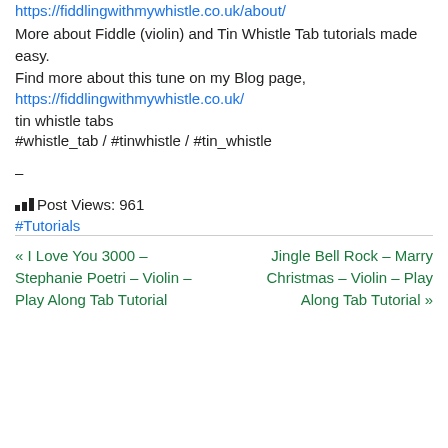https://fiddlingwithmywhistle.co.uk/about/
More about Fiddle (violin) and Tin Whistle Tab tutorials made easy.
Find more about this tune on my Blog page,
https://fiddlingwithmywhistle.co.uk/
tin whistle tabs
#whistle_tab / #tinwhistle / #tin_whistle
–
📊 Post Views: 961
#Tutorials
« I Love You 3000 – Stephanie Poetri – Violin – Play Along Tab Tutorial
Jingle Bell Rock – Marry Christmas – Violin – Play Along Tab Tutorial »